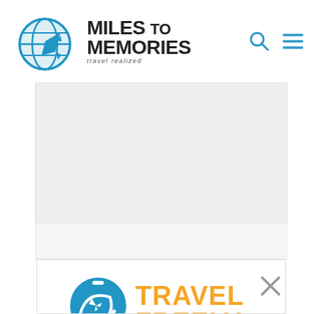[Figure (logo): Miles to Memories travel blog logo with globe and airplane icon, blue and black colors, tagline 'travel realized']
[Figure (other): Gray advertisement placeholder block]
[Figure (logo): Travel Freely logo with blue suitcase/globe icon and orange bold text 'TRAVEL FREELY']
MtM recommended tool to track & organize credit cards
Best card offers personalized for you
Track bonus deadlines, fee dates & 5/24 status